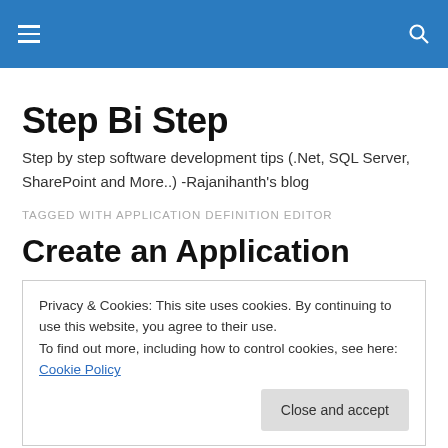Step Bi Step
Step by step software development tips (.Net, SQL Server, SharePoint and More..) -Rajanihanth's blog
TAGGED WITH APPLICATION DEFINITION EDITOR
Create an Application
Privacy & Cookies: This site uses cookies. By continuing to use this website, you agree to their use.
To find out more, including how to control cookies, see here: Cookie Policy
Close and accept
What Is ADF?